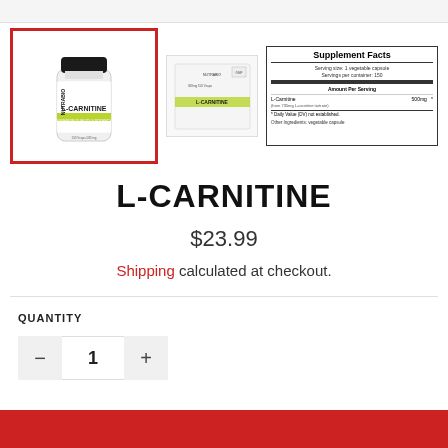[Figure (photo): Main product image: NutraBio L-Carnitine supplement bottle (white bottle with black cap, green and black label) with red border highlight]
[Figure (photo): Thumbnail: NutraBio L-Carnitine product label flat view]
[Figure (table-as-image): Supplement Facts panel: Serving size 1 vegetable capsule, Servings per container 150, L-Carnitine 500mg (from 735mg L-carnitine tartrate), Daily Value not established. Other ingredients: vegetable capsule.]
L-CARNITINE
$23.99
Shipping calculated at checkout.
QUANTITY
1